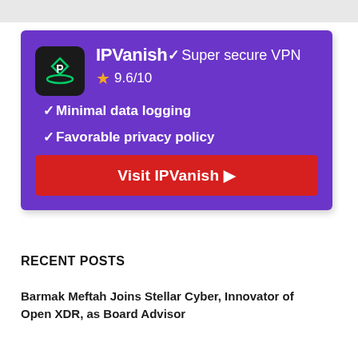[Figure (infographic): IPVanish VPN advertisement card on purple background. Shows IPVanish logo (black square with green P arrow icon), brand name 'IPVanish' with checkmark, tagline 'Super secure VPN', star rating 9.6/10, bullet points: 'Minimal data logging', 'Favorable privacy policy', and a red CTA button 'Visit IPVanish ▶']
RECENT POSTS
Barmak Meftah Joins Stellar Cyber, Innovator of Open XDR, as Board Advisor